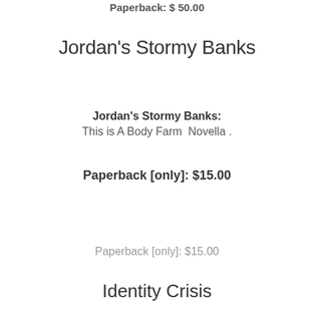Paperback: $50.00
Jordan's Stormy Banks
Jordan's Stormy Banks:
This is A Body Farm  Novella .
Paperback [only]: $15.00
Paperback [only]: $15.00
Identity Crisis